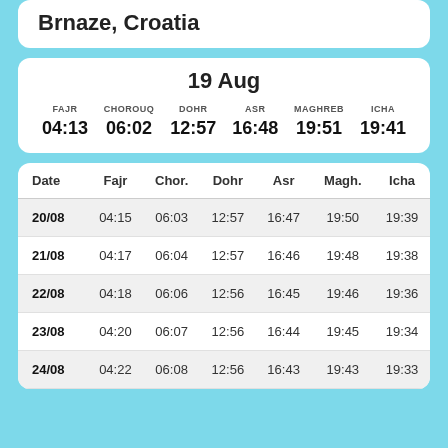Brnaze, Croatia
19 Aug
|  | FAJR | CHOROUQ | DOHR | ASR | MAGHREB | ICHA |
| --- | --- | --- | --- | --- | --- | --- |
|  | 04:13 | 06:02 | 12:57 | 16:48 | 19:51 | 19:41 |
| Date | Fajr | Chor. | Dohr | Asr | Magh. | Icha |
| --- | --- | --- | --- | --- | --- | --- |
| 20/08 | 04:15 | 06:03 | 12:57 | 16:47 | 19:50 | 19:39 |
| 21/08 | 04:17 | 06:04 | 12:57 | 16:46 | 19:48 | 19:38 |
| 22/08 | 04:18 | 06:06 | 12:56 | 16:45 | 19:46 | 19:36 |
| 23/08 | 04:20 | 06:07 | 12:56 | 16:44 | 19:45 | 19:34 |
| 24/08 | 04:22 | 06:08 | 12:56 | 16:43 | 19:43 | 19:33 |